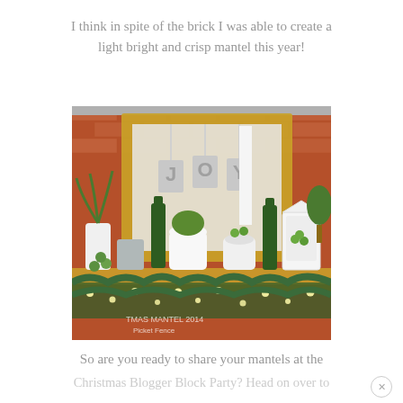I think in spite of the brick I was able to create a light bright and crisp mantel this year!
[Figure (photo): A decorated Christmas mantel with a gold ornate mirror, white JOY letters hanging, green wine bottles, white ceramic vase with tall palm fronds, green ornaments, potted plants, a white lantern, and a pine garland with fairy lights along the mantelpiece.]
So are you ready to share your mantels at the
Christmas Blogger Block Party? Head on over to